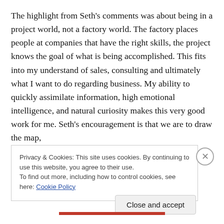The highlight from Seth's comments was about being in a project world, not a factory world.  The factory places people at companies that have the right skills, the project knows the goal of what is being accomplished.  This fits into my understand of sales, consulting and ultimately what I want to do regarding business.  My ability to quickly assimilate information, high emotional intelligence, and natural curiosity makes this very good work for me.  Seth's encouragement is that we are to draw the map,
Privacy & Cookies: This site uses cookies. By continuing to use this website, you agree to their use.
To find out more, including how to control cookies, see here: Cookie Policy
Close and accept